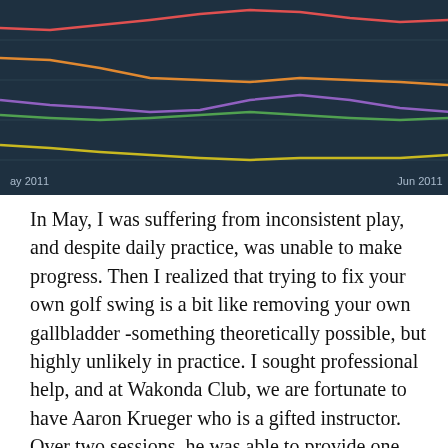[Figure (continuous-plot): Multi-line time series chart with dark teal/navy background showing 5 colored lines (red, orange, gold/yellow, purple, green) over time from May 2011 to Jun 2011. Right side labels: 'Better Than Average' (top), '20.0' (marker), 'Needs Improve-ment' (middle), 'Focus' (bottom). X-axis shows 'ay 2011' and 'Jun 2011'.]
In May, I was suffering from inconsistent play, and despite daily practice, was unable to make progress. Then I realized that trying to fix your own golf swing is a bit like removing your own gallbladder -something theoretically possible, but highly unlikely in practice. I sought professional help, and at Wakonda Club, we are fortunate to have Aaron Krueger who is a gifted instructor. Over two sessions, he was able to provide one critical principal that has changed my game. It is no surprise that it boils down